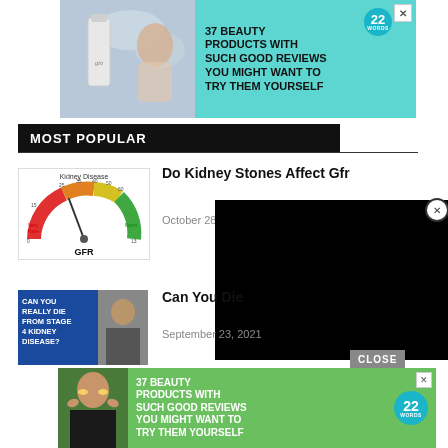[Figure (advertisement): Top banner ad: 37 Beauty Products With Such Good Reviews You Might Want To Try Them Yourself, with product bottle and woman image, cyan/teal background, 22 Words badge]
MOST POPULAR
[Figure (infographic): GFR kidney disease gauge/speedometer chart showing ranges from Very Rare to Normal, labeled GFR]
Do Kidney Stones Affect Gfr
October 28, 20...
[Figure (photo): Article image for Can You Die... with blue background text CAN YOU REALLY DIE FROM STAGE 4 KIDNEY DISEASE?]
Can You Die...
September 23, 2021
[Figure (screenshot): Black video player overlay]
[Figure (advertisement): Bottom banner ad: 37 Beauty Products With Such Good Reviews You Might Want To Try Them Yourself, green background, woman with face mask, 22 Words badge]